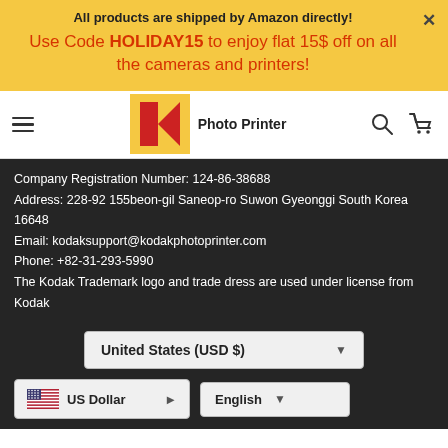All products are shipped by Amazon directly!
Use Code HOLIDAY15 to enjoy flat 15$ off on all the cameras and printers!
[Figure (logo): Kodak Photo Printer logo with navigation bar showing hamburger menu, Kodak K logo in yellow box, Photo Printer text, search icon, and cart icon]
Company Registration Number: 124-86-38688
Address: 228-92 155beon-gil Saneop-ro Suwon Gyeonggi South Korea 16648
Email: kodaksupport@kodakphotoprinter.com
Phone: +82-31-293-5990
The Kodak Trademark logo and trade dress are used under license from Kodak
United States (USD $)
US Dollar
English